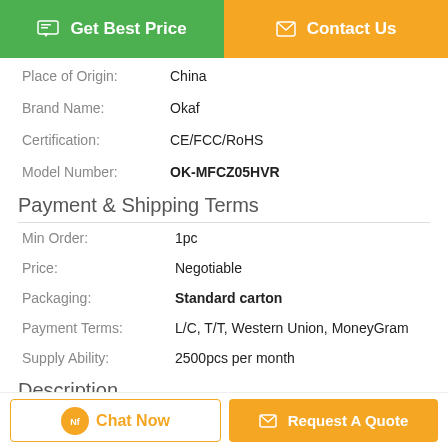[Figure (other): Green 'Get Best Price' button and orange 'Contact Us' button at the top]
| Place of Origin: | China |
| Brand Name: | Okaf |
| Certification: | CE/FCC/RoHS |
| Model Number: | OK-MFCZ05HVR |
Payment & Shipping Terms
| Min Order: | 1pc |
| Price: | Negotiable |
| Packaging: | Standard carton |
| Payment Terms: | L/C, T/T, Western Union, MoneyGram |
| Supply Ability: | 2500pcs per month |
Description
[Figure (other): Bottom bar with 'Chat Now' and 'Request A Quote' buttons]